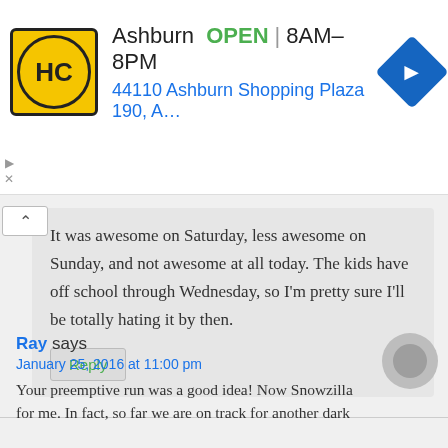[Figure (screenshot): Advertisement banner for HC (Handicapped Center or similar) business in Ashburn, showing logo, OPEN status, hours 8AM-8PM, address 44110 Ashburn Shopping Plaza 190, A., and navigation icon]
It was awesome on Saturday, less awesome on Sunday, and not awesome at all today. The kids have off school through Wednesday, so I'm pretty sure I'll be totally hating it by then.
Ray says
January 25, 2016 at 11:00 pm
Your preemptive run was a good idea! Now Snowzilla for me. In fact, so far we are on track for another dark